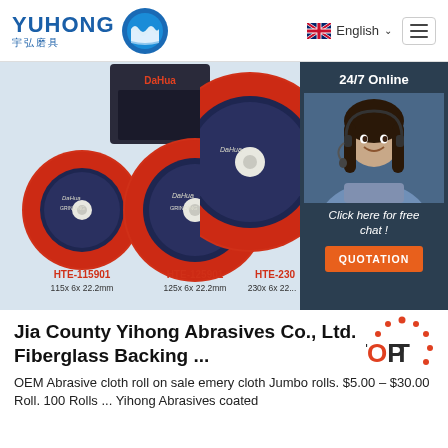YUHONG 宇弘磨具 — English navigation header
[Figure (photo): Product photo showing three DaHua abrasive grinding discs labeled HTE-115901 (115x6x22.2mm), HTE-125901 (125x6x22.2mm), and HTE-230 (230x6x22.2mm), displayed against a light blue background. Right side shows a 24/7 Online chat panel with a customer service representative and a QUOTATION button.]
Jia County Yihong Abrasives Co., Ltd. Fiberglass Backing ...
OEM Abrasive cloth roll on sale emery cloth Jumbo rolls. $5.00 – $30.00 Roll. 100 Rolls ... Yihong Abrasives coated